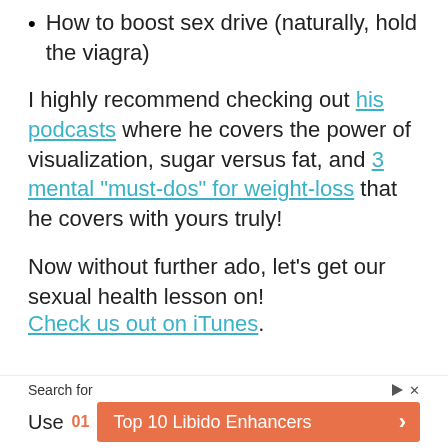How to boost sex drive (naturally, hold the viagra)
I highly recommend checking out his podcasts where he covers the power of visualization, sugar versus fat, and 3 mental “must-dos” for weight-loss that he covers with yours truly!
Now without further ado, let’s get our sexual health lesson on!
Check us out on iTunes.
Search for
Use  01  Top 10 Libido Enhancers